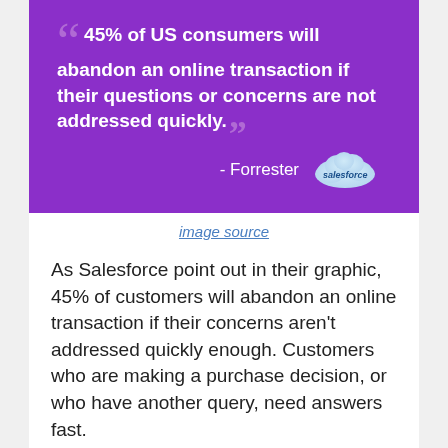[Figure (infographic): Purple background quote box with Salesforce logo cloud. Quote reads: 45% of US consumers will abandon an online transaction if their questions or concerns are not addressed quickly. - Forrester]
image source
As Salesforce point out in their graphic, 45% of customers will abandon an online transaction if their concerns aren't addressed quickly enough. Customers who are making a purchase decision, or who have another query, need answers fast.
Using live chat to address concerns in real time lets customers know that they're